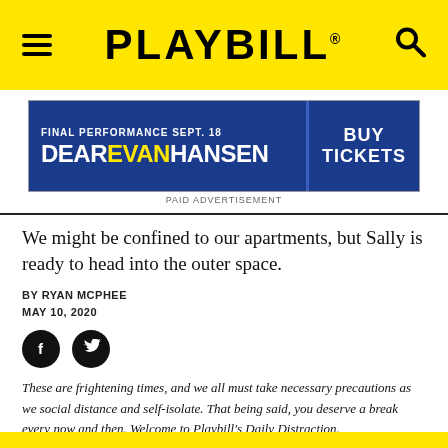PLAYBILL
[Figure (screenshot): Dear Evan Hansen advertisement banner: FINAL PERFORMANCE SEPT. 18 / DEAR EVAN HANSEN / BUY TICKETS]
PAID ADVERTISEMENT
We might be confined to our apartments, but Sally is ready to head into the outer space.
BY RYAN MCPHEE
MAY 10, 2020
[Figure (illustration): Facebook and Twitter social share icons (black circles with white f and bird logos)]
These are frightening times, and we all must take necessary precautions as we social distance and self-isolate. That being said, you deserve a break every now and then. Welcome to Playbill's Daily Distraction.